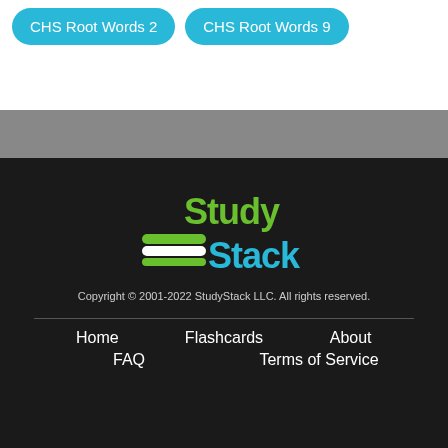CHS Root Words 2
CHS Root Words 9
[Figure (logo): StudyStack logo with green 'Study' text and blue 'Stack' text with book icon]
Copyright © 2001-2022 StudyStack LLC.  All rights reserved.
Home
Flashcards
About
FAQ
Terms of Service